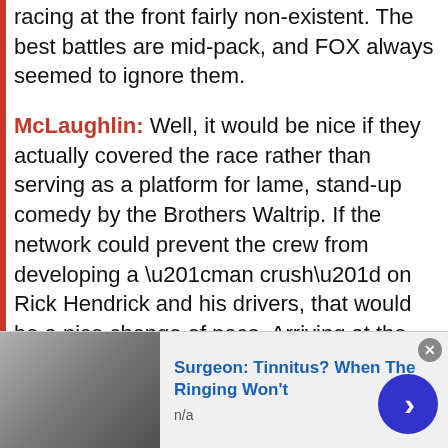racing at the front fairly non-existent. The best battles are mid-pack, and FOX always seemed to ignore them.
McLaughlin: Well, it would be nice if they actually covered the race rather than serving as a platform for lame, stand-up comedy by the Brothers Waltrip. If the network could prevent the crew from developing a “man crush” on Rick Hendrick and his drivers, that would be a nice change of pace. Arriving at the track determined to tell the story of the race as it unfolds, rather than sticking to a pre-scripted set of talking points it adheres to no matter what would
[Figure (photo): Advertisement banner showing a person's face with text: Surgeon: Tinnitus? When The Ringing Won't, n/a]